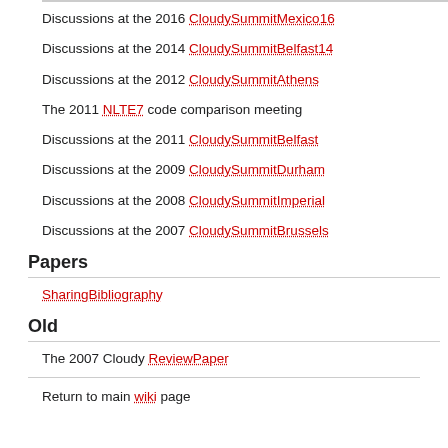Discussions at the 2016 CloudySummitMexico16
Discussions at the 2014 CloudySummitBelfast14
Discussions at the 2012 CloudySummitAthens
The 2011 NLTE7 code comparison meeting
Discussions at the 2011 CloudySummitBelfast
Discussions at the 2009 CloudySummitDurham
Discussions at the 2008 CloudySummitImperial
Discussions at the 2007 CloudySummitBrussels
Papers
SharingBibliography
Old
The 2007 Cloudy ReviewPaper
Return to main wiki page